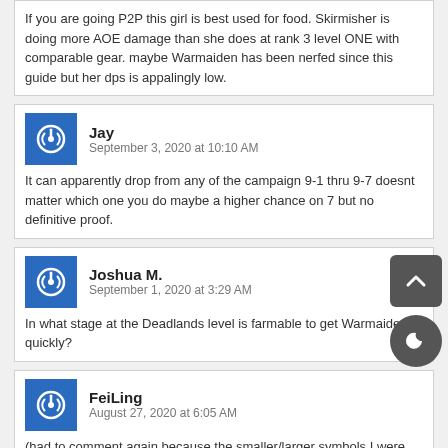If you are going P2P this girl is best used for food. Skirmisher is doing more AOE damage than she does at rank 3 level ONE with comparable gear. maybe Warmaiden has been nerfed since this guide but her dps is appalingly low.
Jay
September 3, 2020 at 10:10 AM
It can apparently drop from any of the campaign 9-1 thru 9-7 doesnt matter which one you do maybe a higher chance on 7 but no definitive proof.
Joshua M.
September 1, 2020 at 3:29 AM
In what stage at the Deadlands level is farmable to get Warmaiden quickly?
FeiLing
August 27, 2020 at 6:05 AM
(had to comment again because the smaller/larger symbols I were interpreted by the website and blanked out the text in between them LUL)

@KirbyMorph